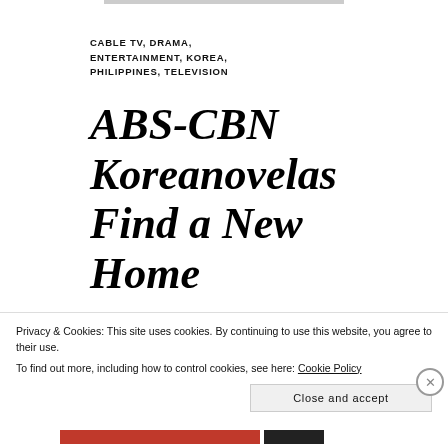CABLE TV, DRAMA, ENTERTAINMENT, KOREA, PHILIPPINES, TELEVISION
ABS-CBN Koreanovelas Find a New Home
JULY 7, 2016 | RALPHIERCE | ABS-CBN, ABS-CBN ASIANOVELAS, ABS-CBN ASIANOVELAS RATINGS, ABS-
Privacy & Cookies: This site uses cookies. By continuing to use this website, you agree to their use.
To find out more, including how to control cookies, see here: Cookie Policy
Close and accept